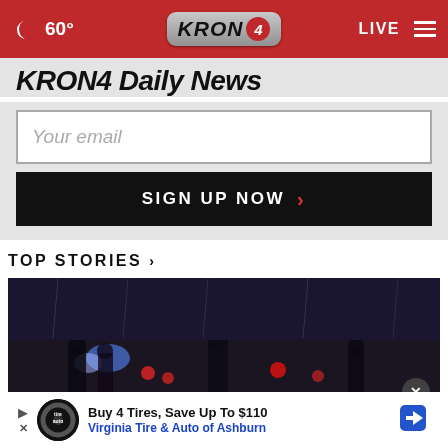60° KRON4 LIVE
KRON4 Daily News
Your email
SIGN UP NOW
TOP STORIES ›
[Figure (photo): Night scene showing group of people on a street with red lights visible, appears to be a news video still]
Buy 4 Tires, Save Up To $110
Virginia Tire & Auto of Ashburn